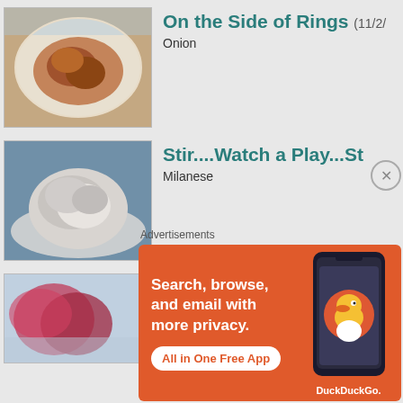On the Side of Rings (11/2/... — Onion
Stir....Watch a Play...St... — Milanese
The Best Cabbage I Eve... — Braised Red Cabbage
Advertisements
[Figure (screenshot): DuckDuckGo advertisement banner: orange background, text 'Search, browse, and email with more privacy. All in One Free App', with a phone image and DuckDuckGo logo]